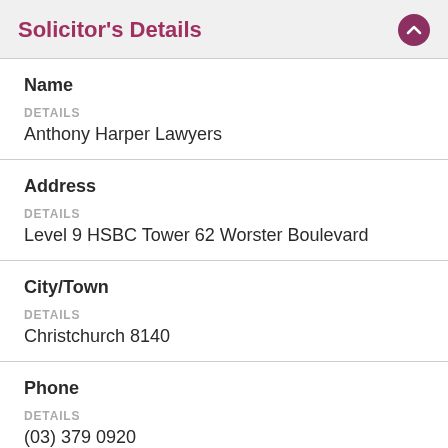Solicitor's Details
Name
DETAILS
Anthony Harper Lawyers
Address
DETAILS
Level 9 HSBC Tower 62 Worster Boulevard
City/Town
DETAILS
Christchurch 8140
Phone
DETAILS
(03) 379 0920